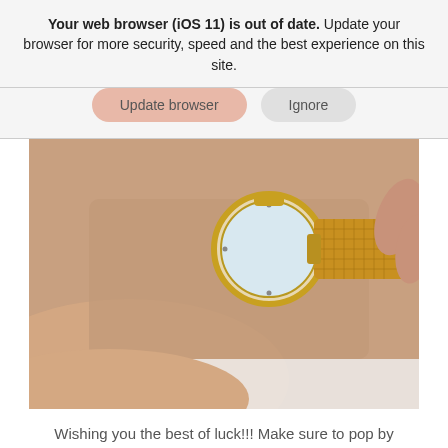Your web browser (iOS 11) is out of date. Update your browser for more security, speed and the best experience on this site.
[Figure (screenshot): Two buttons: 'Update browser' (pinkish) and 'Ignore' (gray)]
[Figure (photo): Close-up photo of a hand adjusting a gold mesh-band wristwatch on a wrist]
Wishing you the best of luck!!! Make sure to pop by